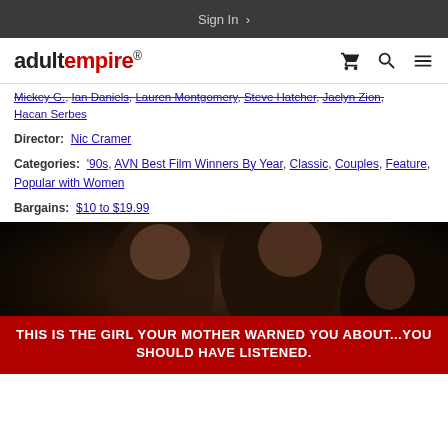Sign In
[Figure (logo): Adult Empire logo with shopping cart, search, and menu icons]
Mickey G., Ian Daniels, Lauren Montgomery, Steve Hatcher, Jaclyn Zion, Hacan Serbes
Director: Nic Cramer
Categories: '90s, AVN Best Film Winners By Year, Classic, Couples, Feature, Popular with Women
Bargains: $10 to $19.99
[Figure (photo): Movie still image]
THIS IS THE GIRL YOUR MOTHER WARNED YOU ABOUT...YOU SHOULD HAVE LISTENED.